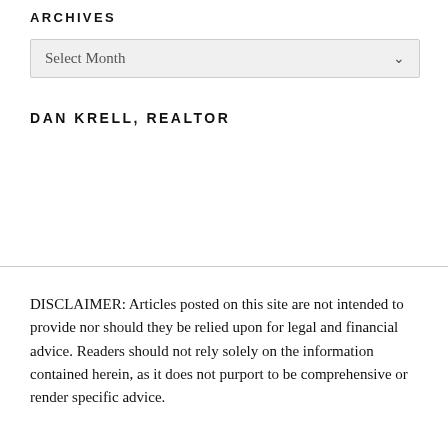ARCHIVES
[Figure (other): A dropdown select widget with the label 'Select Month' and a chevron arrow on the right]
DAN KRELL, REALTOR
DISCLAIMER: Articles posted on this site are not intended to provide nor should they be relied upon for legal and financial advice. Readers should not rely solely on the information contained herein, as it does not purport to be comprehensive or render specific advice.